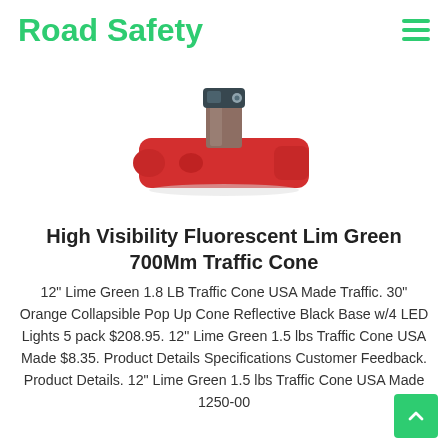Road Safety
[Figure (photo): Photo of a red traffic cone accessory device with a metal clamp/bracket attachment on top, photographed on white background.]
High Visibility Fluorescent Lim Green 700Mm Traffic Cone
12" Lime Green 1.8 LB Traffic Cone USA Made Traffic. 30" Orange Collapsible Pop Up Cone Reflective Black Base w/4 LED Lights 5 pack $208.95. 12" Lime Green 1.5 lbs Traffic Cone USA Made $8.35. Product Details Specifications Customer Feedback. Product Details. 12" Lime Green 1.5 lbs Traffic Cone USA Made 1250-00